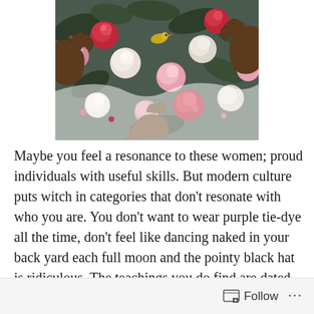[Figure (illustration): Painting of dark-skinned hands surrounded by roses and flowers in shades of red, pink, and white with green foliage, painted in a lush floral style.]
Maybe you feel a resonance to these women; proud individuals with useful skills. But modern culture puts witch in categories that don't resonate with who you are. You don't want to wear purple tie-dye all the time, don't feel like dancing naked in your back yard each full moon and the pointy black hat is ridiculous. The teachings you do find are dated, written for a different audience. You feel a yearning to sing your own song, and want to learn about yourself and connect with the world in a deep, meaningful way but don't know where to begin. It's time to reclaim our birthright and the name of witch.
Follow ...